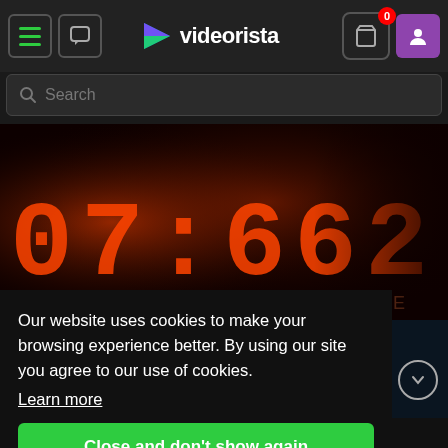videorista — navigation bar with hamburger menu, chat icon, logo, cart (0), user account button
Search
[Figure (screenshot): LED scoreboard display showing large orange dot-matrix numbers: a partial score reading like 07:662, with DASSCORE text visible, dark background with orange/red glow]
Our website uses cookies to make your browsing experience better. By using our site you agree to our use of cookies.
Learn more
Close and don't show again